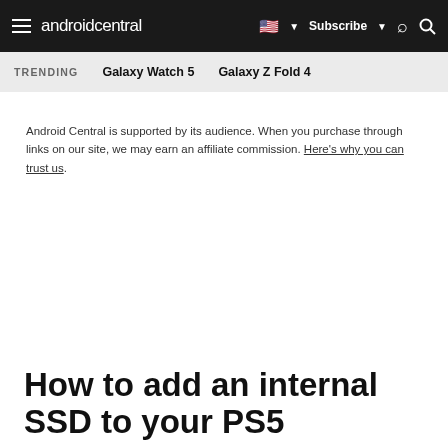androidcentral | Subscribe
TRENDING   Galaxy Watch 5   Galaxy Z Fold 4
Android Central is supported by its audience. When you purchase through links on our site, we may earn an affiliate commission. Here's why you can trust us.
How to add an internal SSD to your PS5